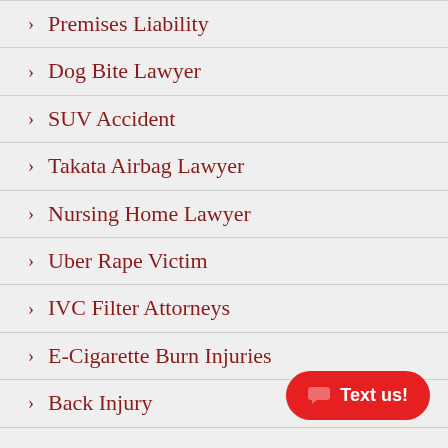Premises Liability
Dog Bite Lawyer
SUV Accident
Takata Airbag Lawyer
Nursing Home Lawyer
Uber Rape Victim
IVC Filter Attorneys
E-Cigarette Burn Injuries
Back Injury